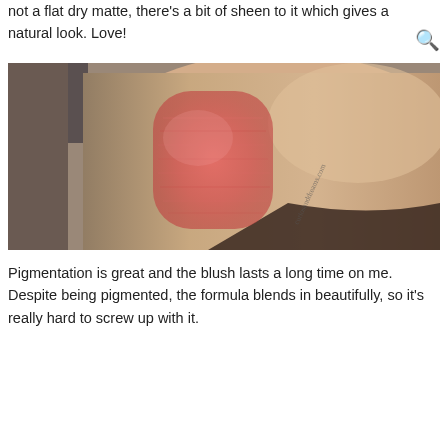not a flat dry matte, there's a bit of sheen to it which gives a natural look. Love!
[Figure (photo): Close-up photo of a hand/wrist with a rectangular swatch of coral-pink blush applied to the skin. Watermark reads 'curiosanddreams.com'.]
Pigmentation is great and the blush lasts a long time on me. Despite being pigmented, the formula blends in beautifully, so it's really hard to screw up with it.